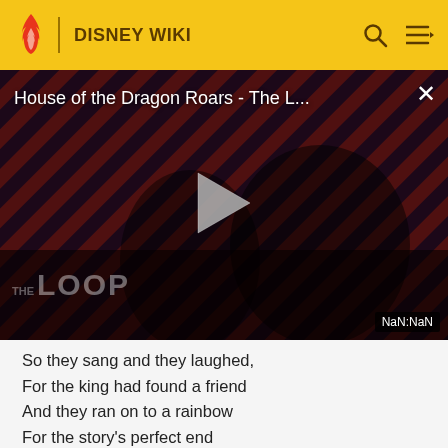DISNEY WIKI
[Figure (screenshot): Video player showing 'House of the Dragon Roars - The L...' with a play button in the center, a diagonal stripe background in red and dark purple, two figures visible, 'THE LOOP' logo in lower left, and 'NaN:NaN' time badge in lower right corner. An X close button is in the top right.]
So they sang and they laughed,
For the king had found a friend
And they ran on to a rainbow
For the story's perfect end